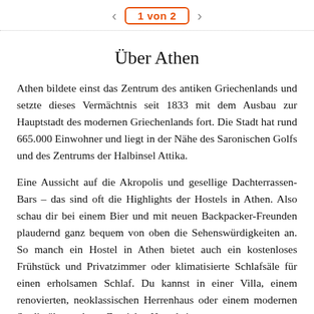< 1 von 2 >
Über Athen
Athen bildete einst das Zentrum des antiken Griechenlands und setzte dieses Vermächtnis seit 1833 mit dem Ausbau zur Hauptstadt des modernen Griechenlands fort. Die Stadt hat rund 665.000 Einwohner und liegt in der Nähe des Saronischen Golfs und des Zentrums der Halbinsel Attika.
Eine Aussicht auf die Akropolis und gesellige Dachterrassen-Bars – das sind oft die Highlights der Hostels in Athen. Also schau dir bei einem Bier und mit neuen Backpacker-Freunden plaudernd ganz bequem von oben die Sehenswürdigkeiten an. So manch ein Hostel in Athen bietet auch ein kostenloses Frühstück und Privatzimmer oder klimatisierte Schlafsäle für einen erholsamen Schlaf. Du kannst in einer Villa, einem renovierten, neoklassischen Herrenhaus oder einem modernen Studio übernachten. Zu vielen Hostels in